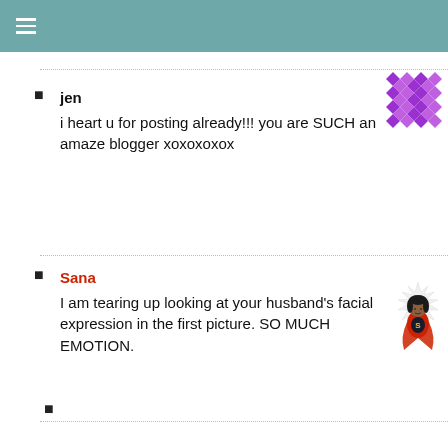☰
jen
i heart u for posting already!!! you are SUCH an amaze blogger xoxoxoxox
Sana
I am tearing up looking at your husband's facial expression in the first picture. SO MUCH EMOTION.